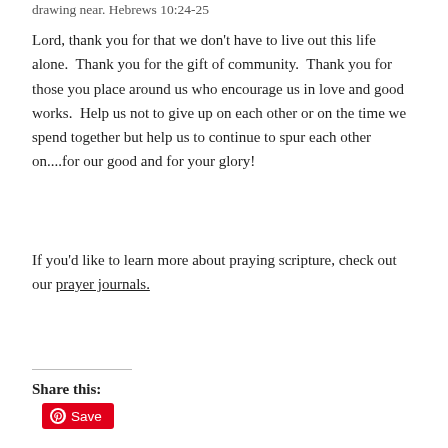drawing near. Hebrews 10:24-25
Lord, thank you for that we don't have to live out this life alone.  Thank you for the gift of community.  Thank you for those you place around us who encourage us in love and good works.  Help us not to give up on each other or on the time we spend together but help us to continue to spur each other on....for our good and for your glory!
If you'd like to learn more about praying scripture, check out our prayer journals.
Share this:
Save